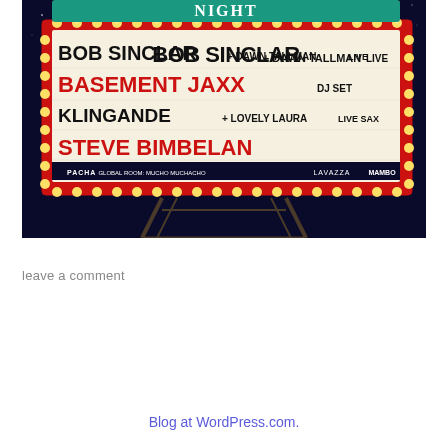[Figure (photo): Concert marquee billboard sign lit up at night showing performers: BOB SINCLAR + DAWN TALLMAN LIVE, BASEMENT JAXX DJ SET, KLINGANDE + LOVELY LAURA LIVE SAX, STEVE BIMBELAN. Bottom logos include Pacha, App Store, Global Room Mucho Muchacho, Lavazza, Mambo.]
leave a comment
Blog at WordPress.com.